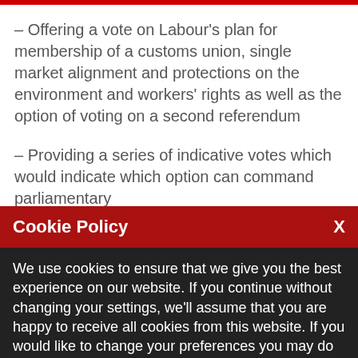– Offering a vote on Labour's plan for membership of a customs union, single market alignment and protections on the environment and workers' rights as well as the option of voting on a second referendum
– Providing a series of indicative votes which would indicate which option can command parliamentary
Cookie Policy
We use cookies to ensure that we give you the best experience on our website. If you continue without changing your settings, we'll assume that you are happy to receive all cookies from this website. If you would like to change your preferences you may do so by following the instructions here.